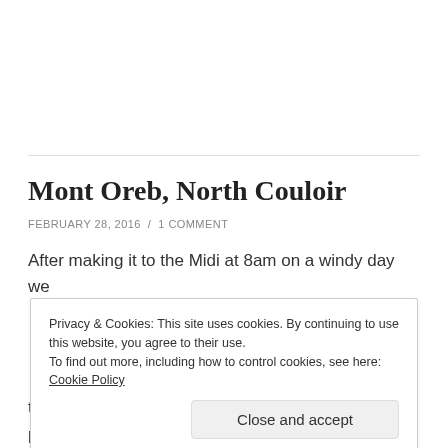Mont Oreb, North Couloir
FEBRUARY 28, 2016 / 1 COMMENT
After making it to the Midi at 8am on a windy day we
Privacy & Cookies: This site uses cookies. By continuing to use this website, you agree to their use.
To find out more, including how to control cookies, see here: Cookie Policy
Close and accept
the glacier gear and 60m ropes we originally planned on